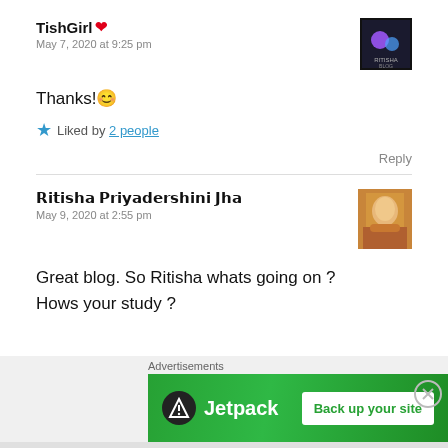TishGirl ❤
May 7, 2020 at 9:25 pm
Thanks! 😊
★ Liked by 2 people
Reply
𝗥𝗶𝘁𝗶𝘀𝗵𝗮 𝗣𝗿𝗶𝘆𝗮𝗱𝗲𝗿𝘀𝗵𝗶𝗻𝗶 𝗝𝗵𝗮
May 9, 2020 at 2:55 pm
Great blog. So Ritisha whats going on ?
Hows your study ?
[Figure (infographic): Jetpack advertisement banner with logo and 'Back up your site' button. Green background. Advertisements label above.]